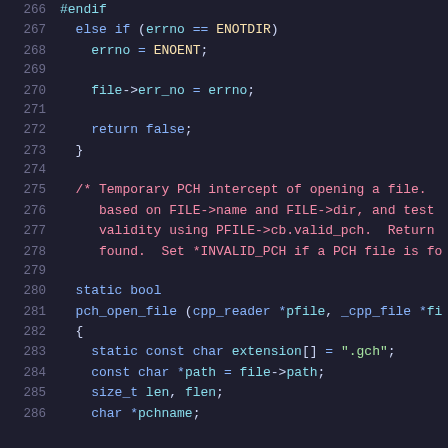266  #endif
267    else if (errno == ENOTDIR)
268      errno = ENOENT;
269
270      file->err_no = errno;
271
272      return false;
273  }
274
275  /* Temporary PCH intercept of opening a file.
276     based on FILE->name and FILE->dir, and test
277     validity using PFILE->cb.valid_pch. Return
278     found. Set *INVALID_PCH if a PCH file is fo
279
280  static bool
281  pch_open_file (cpp_reader *pfile, _cpp_file *fi
282  {
283    static const char extension[] = ".gch";
284    const char *path = file->path;
285    size_t len, flen;
286    char *pchname;